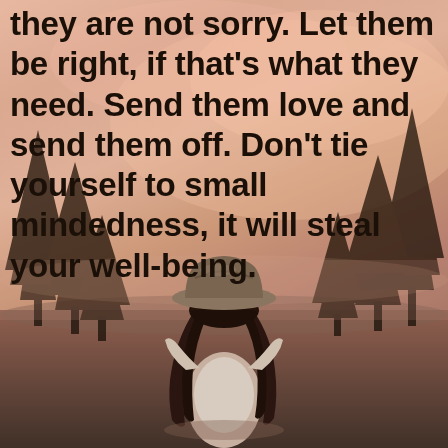[Figure (illustration): Inspirational quote image. Background shows a warm peachy-pink sunset sky with silhouetted pine trees on the left and right edges. In the lower center, a woman seen from behind wearing a wide-brimmed hat and with long hair sits looking at the landscape. Bold dark text overlays the upper portion with a motivational quote about letting go of people who are not sorry and not tying yourself to small mindedness.]
they are not sorry. Let them be right, if that's what they need. Send them love and send them off. Don't tie yourself to small mindedness, it will steal your well-being.